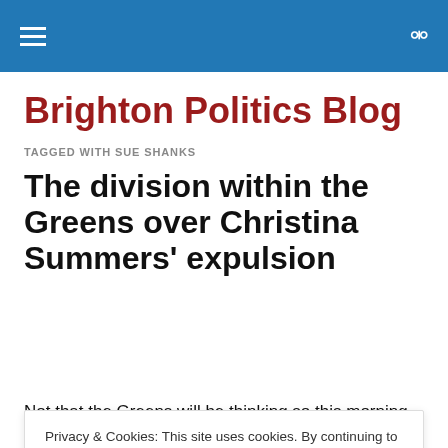Brighton Politics Blog — site header with hamburger menu and search icon
Brighton Politics Blog
TAGGED WITH SUE SHANKS
The division within the Greens over Christina Summers' expulsion
Privacy & Cookies: This site uses cookies. By continuing to use this website, you agree to their use.
To find out more, including how to control cookies, see here: Cookie Policy
Close and accept
Not that the Greens will be thinking so this morning as Tim